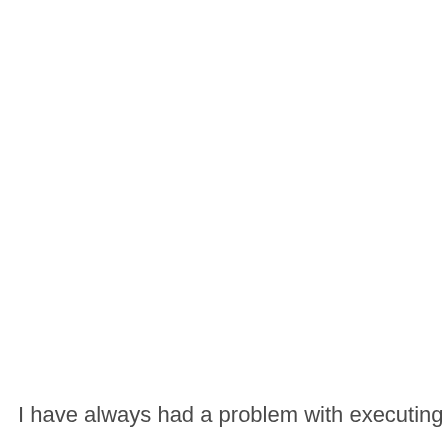I have always had a problem with executing drug